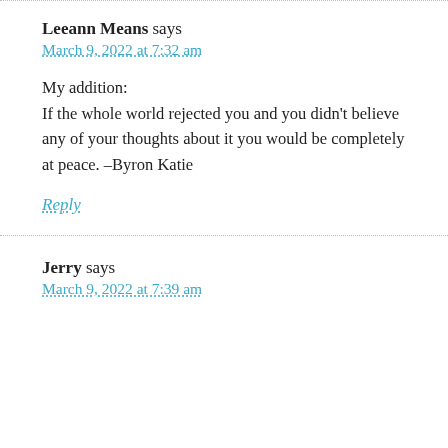Leeann Means says
March 9, 2022 at 7:32 am
My addition:
If the whole world rejected you and you didn't believe any of your thoughts about it you would be completely at peace. –Byron Katie
Reply
Jerry says
March 9, 2022 at 7:39 am